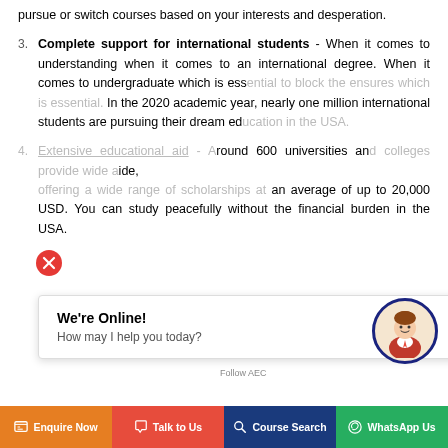pursue or switch courses based on your interests and desperation.
3. Complete support for international students - When it comes to understanding when it comes to an international degree. When it comes to undergraduate which is essential to block the ensures which is essential. In the 2020 academic year, nearly one million international students are pursuing their dream education in the USA.
4. Extensive educational aid - Around 600 universities and colleges provide wide aid, offering a wide range of scholarships at an average of up to 20,000 USD. You can study peacefully without the financial burden in the USA.
We're Online! How may I help you today?
Enquire Now  Talk to Us  Course Search  WhatsApp Us